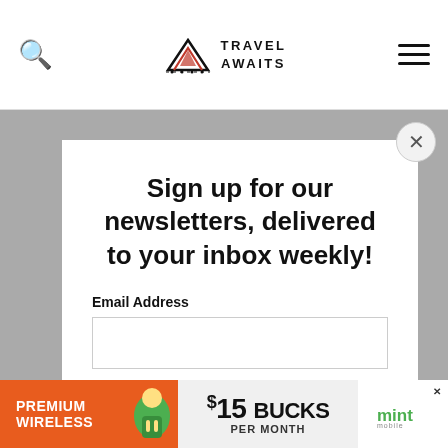Travel Awaits
Sign up for our newsletters, delivered to your inbox weekly!
Email Address
SIGN ME UP!
[Figure (infographic): Advertisement banner for Mint Mobile: Premium Wireless, $15 Bucks Per Month]